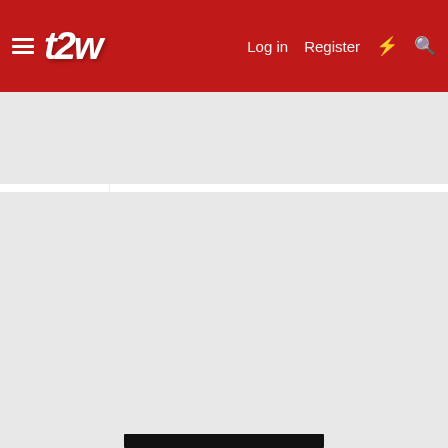t2w — Log in | Register
[Figure (screenshot): Advertisement banner showing a law firm logo and partial text 'transactional business law pro']
[redacted/censored content bar]